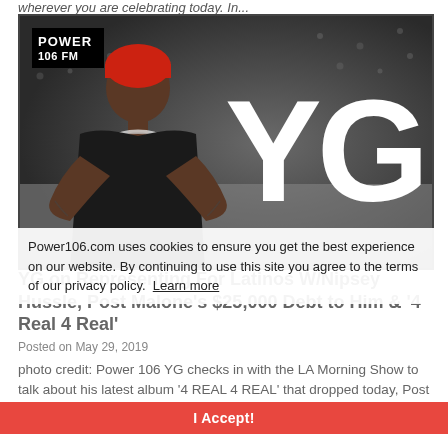wherever you are celebrating today. In...
[Figure (photo): YG promotional photo for Power 106 FM. Man wearing red beanie and black t-shirt with tattoos and chain necklace, standing in front of a textured dark background with large white 'YG' lettering. Power 106 FM logo in top left corner.]
Power106.com uses cookies to ensure you get the best experience on our website. By continuing to use this site you agree to the terms of our privacy policy. Learn more
YG on Representing For Latinos W/Nipsey Hussle, Post Malone's $25,000 Debt to Him & '4 Real 4 Real'
Posted on May 29, 2019
photo credit: Power 106 YG checks in with the LA Morning Show to talk about his latest album '4 REAL 4 REAL' that dropped today, Post Malone owing him...
I Accept!